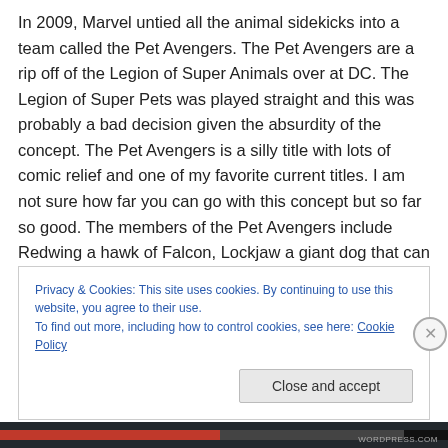In 2009, Marvel untied all the animal sidekicks into a team called the Pet Avengers.  The Pet Avengers are a rip off of the Legion of Super Animals over at DC.  The Legion of Super Pets was played straight and this was probably a bad decision given the absurdity of the concept.  The Pet Avengers is a silly title with lots of comic relief and one of my favorite current titles.  I am not sure how far you can go with this concept but so far so good.  The members of the Pet Avengers include Redwing a hawk of Falcon, Lockjaw a giant dog that can teleport of the Inhumans, Zabu a saber tooth tiger of Ka-Zar, Lockheed a small
Privacy & Cookies: This site uses cookies. By continuing to use this website, you agree to their use.
To find out more, including how to control cookies, see here: Cookie Policy